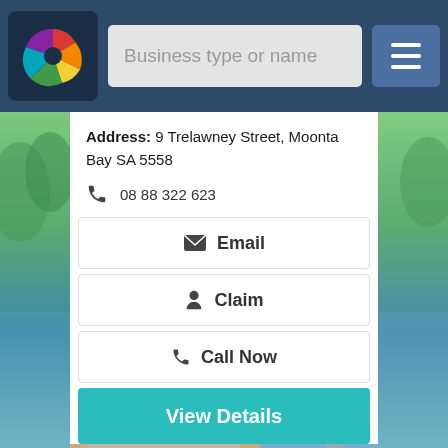[Figure (screenshot): Navigation bar with colorful swirl logo, search box with placeholder 'Business type or name', and hamburger menu button]
Address: 9 Trelawney Street, Moonta Bay SA 5558
08 88 322 623
Email
Claim
Call Now
View Details
[Figure (photo): Outdoor patio area with ocean view, beach in background with blue sky, patio furniture visible]